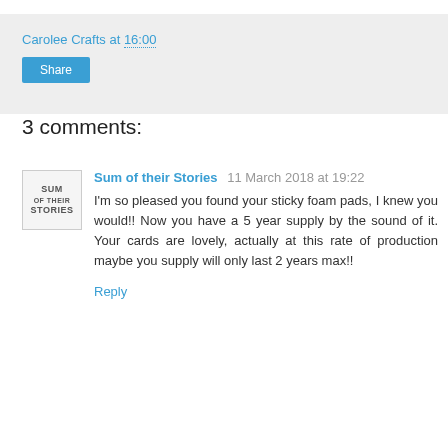Carolee Crafts at 16:00
Share
3 comments:
Sum of their Stories  11 March 2018 at 19:22
I'm so pleased you found your sticky foam pads, I knew you would!! Now you have a 5 year supply by the sound of it. Your cards are lovely, actually at this rate of production maybe you supply will only last 2 years max!!
Reply